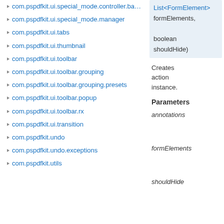com.pspdfkit.ui.special_mode.controller.ba...
com.pspdfkit.ui.special_mode.manager
com.pspdfkit.ui.tabs
com.pspdfkit.ui.thumbnail
com.pspdfkit.ui.toolbar
com.pspdfkit.ui.toolbar.grouping
com.pspdfkit.ui.toolbar.grouping.presets
com.pspdfkit.ui.toolbar.popup
com.pspdfkit.ui.toolbar.rx
com.pspdfkit.ui.transition
com.pspdfkit.undo
com.pspdfkit.undo.exceptions
com.pspdfkit.utils
List<FormElement> formElements, boolean shouldHide)
Creates action instance.
Parameters
annotations
formElements
shouldHide